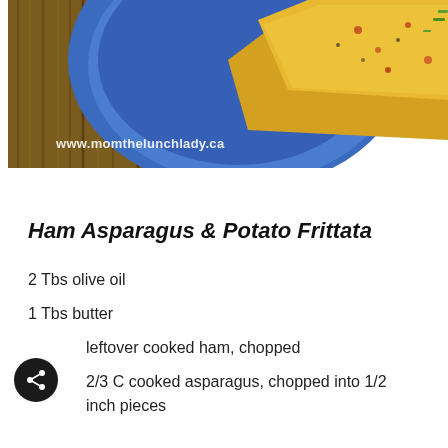[Figure (photo): Photo of a frittata slice on a blue ceramic plate, with a wood surface visible on the left. Watermark reads www.momthelunchlady.ca]
Ham Asparagus & Potato Frittata
2 Tbs olive oil
1 Tbs butter
leftover cooked ham, chopped
2/3 C cooked asparagus, chopped into 1/2 inch pieces